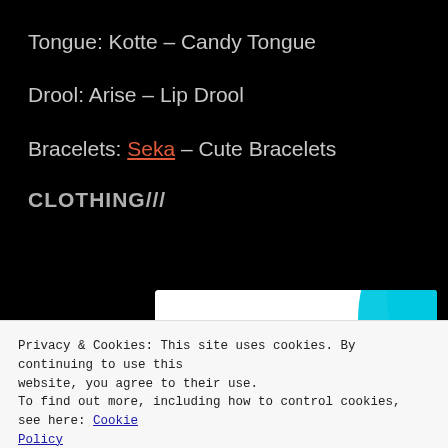Tongue: Kotte – Candy Tongue
Drool: Arise – Lip Drool
Bracelets: Seka – Cute Bracelets
CLOTHING///
[Figure (infographic): Advertisement banner: 'How to start selling subscriptions online' with a cyan decorative curve shape on white background]
Privacy & Cookies: This site uses cookies. By continuing to use this website, you agree to their use.
To find out more, including how to control cookies, see here: Cookie Policy